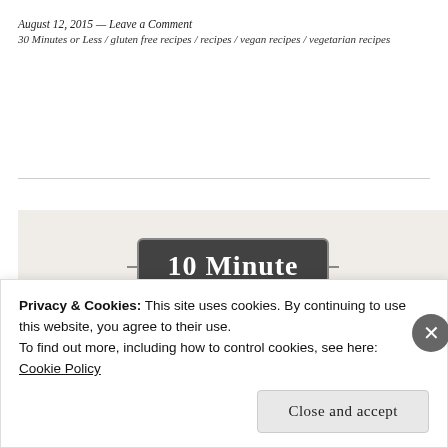August 12, 2015 — Leave a Comment
30 Minutes or Less / gluten free recipes / recipes / vegan recipes / vegetarian recipes
[Figure (illustration): Recipe image area with a badge reading '10 Minute' in a dark rounded rectangle, and large uppercase text 'Miso Noodle Soup' partially visible below]
Privacy & Cookies: This site uses cookies. By continuing to use this website, you agree to their use.
To find out more, including how to control cookies, see here:
Cookie Policy
Close and accept